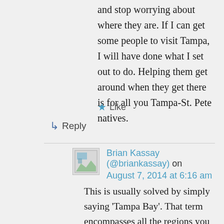and stop worrying about where they are. If I can get some people to visit Tampa, I will have done what I set out to do. Helping them get around when they get there is for all you Tampa-St. Pete natives.
★ Like
↳ Reply
Brian Kassay (@briankassay) on August 7, 2014 at 6:16 am
This is usually solved by simply saying 'Tampa Bay'. That term encompasses all the regions you mentioned. Even the Seminole area is still sometimes grouped into